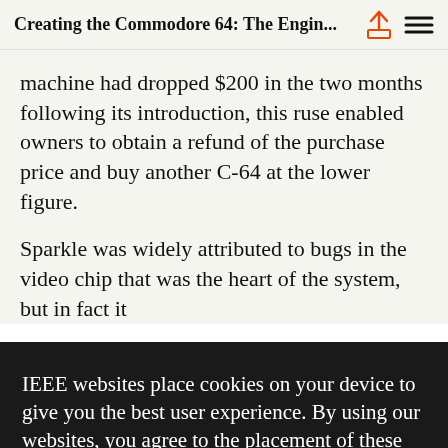Creating the Commodore 64: The Engin...
machine had dropped $200 in the two months following its introduction, this ruse enabled owners to obtain a refund of the purchase price and buy another C-64 at the lower figure.
Sparkle was widely attributed to bugs in the video chip that was the heart of the system, but in fact it
IEEE websites place cookies on your device to give you the best user experience. By using our websites, you agree to the placement of these cookies. To learn more, read our Privacy Policy.
ACCEPT & CLOSE
VIEW PRIVACY POLICY